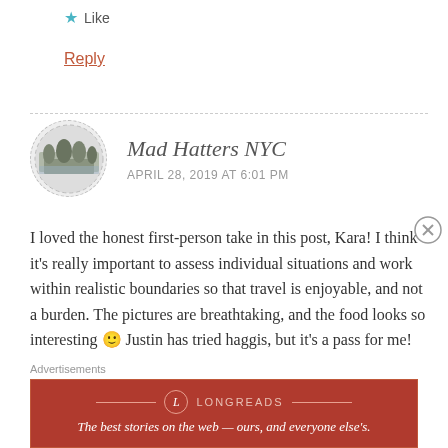★ Like
Reply
Mad Hatters NYC
APRIL 28, 2019 AT 6:01 PM
I loved the honest first-person take in this post, Kara! I think it's really important to assess individual situations and work within realistic boundaries so that travel is enjoyable, and not a burden. The pictures are breathtaking, and the food looks so interesting 🙂 Justin has tried haggis, but it's a pass for me! I'm glad you were
[Figure (infographic): Longreads advertisement banner: dark red background with Longreads logo and tagline 'The best stories on the web — ours, and everyone else's.']